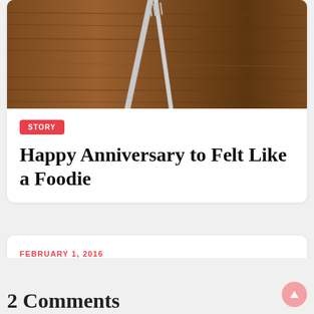[Figure (photo): Photo of silverware (fork and knife) on a wooden table surface with wood grain texture visible]
STORY
Happy Anniversary to Felt Like a Foodie
FEBRUARY 1, 2016
2 Comments